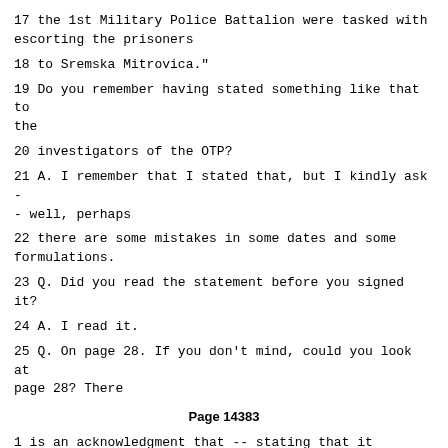17 the 1st Military Police Battalion were tasked with escorting the prisoners
18 to Sremska Mitrovica."
19 Do you remember having stated something like that to the
20 investigators of the OTP?
21 A. I remember that I stated that, but I kindly ask -- well, perhaps
22 there are some mistakes in some dates and some formulations.
23 Q. Did you read the statement before you signed it?
24 A. I read it.
25 Q. On page 28. If you don't mind, could you look at page 28? There
Page 14383
1 is an acknowledgment that -- stating that it contains everything you said
2 and that that was stated to the best of your recollection and memory.